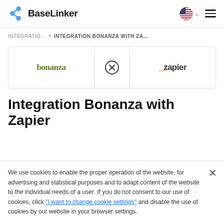BaseLinker
INTEGRATIO... • INTEGRATION BONANZA WITH ZA...
[Figure (logo): Bonanza logo and Zapier logo separated by an X (cross/close) circle icon]
Integration Bonanza with Zapier
We use cookies to enable the proper operation of the website, for advertising and statistical purposes and to adapt content of the website to the individual needs of a user. If you do not consent to our use of cookies, click "I want to change cookie settings" and disable the use of cookies by our website in your browser settings.